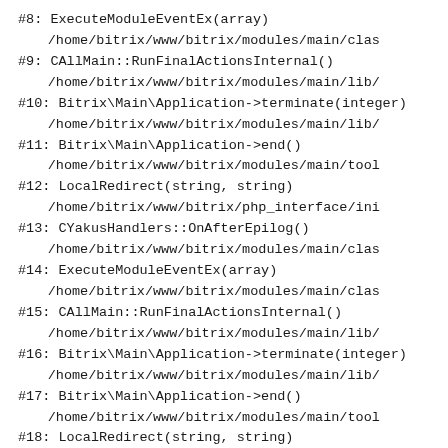#8: ExecuteModuleEventEx(array)
        /home/bitrix/www/bitrix/modules/main/clas
#9: CAllMain::RunFinalActionsInternal()
        /home/bitrix/www/bitrix/modules/main/lib/
#10: Bitrix\Main\Application->terminate(integer)
        /home/bitrix/www/bitrix/modules/main/lib/
#11: Bitrix\Main\Application->end()
        /home/bitrix/www/bitrix/modules/main/tool
#12: LocalRedirect(string, string)
        /home/bitrix/www/bitrix/php_interface/ini
#13: CYakusHandlers::OnAfterEpilog()
        /home/bitrix/www/bitrix/modules/main/clas
#14: ExecuteModuleEventEx(array)
        /home/bitrix/www/bitrix/modules/main/clas
#15: CAllMain::RunFinalActionsInternal()
        /home/bitrix/www/bitrix/modules/main/lib/
#16: Bitrix\Main\Application->terminate(integer)
        /home/bitrix/www/bitrix/modules/main/lib/
#17: Bitrix\Main\Application->end()
        /home/bitrix/www/bitrix/modules/main/tool
#18: LocalRedirect(string, string)